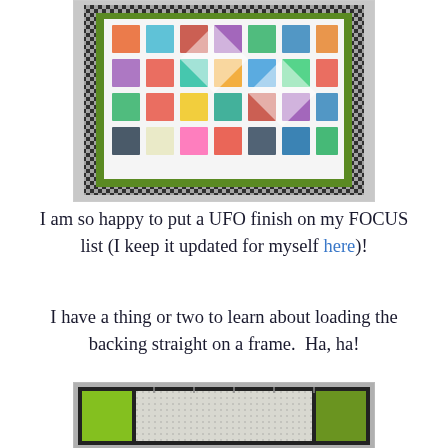[Figure (photo): A colorful patchwork quilt displayed on a wall, featuring many different geometric block patterns in various colors with a black-and-white houndstooth border and green inner border.]
I am so happy to put a UFO finish on my FOCUS list (I keep it updated for myself here)!
I have a thing or two to learn about loading the backing straight on a frame.  Ha, ha!
[Figure (photo): A quilt backing loaded on a quilting frame, showing a light speckled fabric center with a yellow-green leaf print border fabric on the sides, set against a gray background.]